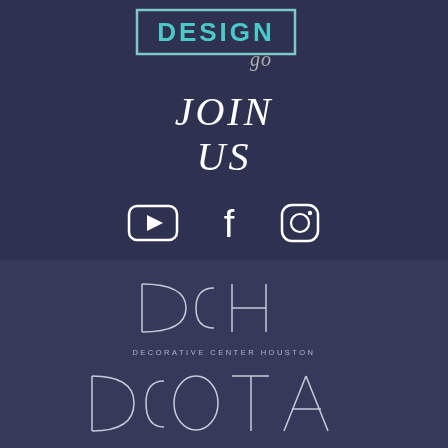[Figure (logo): Design go logo with teal/turquoise 'DESIGN' text in a rectangular border and 'go' in script below]
JOIN US
[Figure (infographic): Social media icons: YouTube, Facebook, Instagram]
[Figure (logo): DCH Decorative Center Houston logo with large thin letterforms and subtitle 'DECORATIVE CENTER HOUSTON']
[Figure (logo): DCOTA Design Center of the Americas logo with large thin letterforms and subtitle 'DESIGN CENTER OF THE AMERICAS']